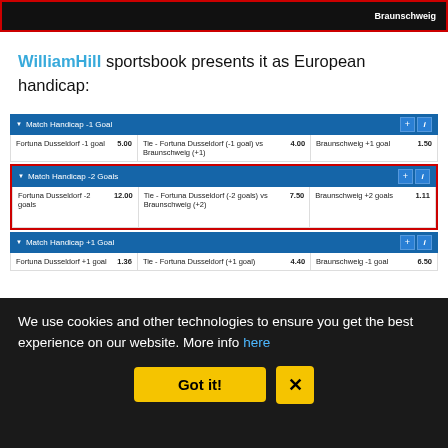[Figure (screenshot): Top portion of a sportsbook screenshot showing Fortuna Dusseldorf vs Braunschweig betting row with red border highlight]
WilliamHill sportsbook presents it as European handicap:
[Figure (screenshot): William Hill sportsbook widget showing Match Handicap -1 Goal, -2 Goals (highlighted with red border), and +1 Goal rows with odds for Fortuna Dusseldorf vs Braunschweig]
We use cookies and other technologies to ensure you get the best experience on our website. More info here